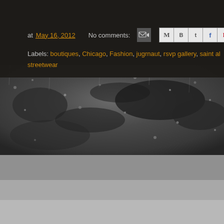at May 16, 2012   No comments:  [share icons]
Labels: boutiques, Chicago, Fashion, jugrnaut, rsvp gallery, saint al... streetwear
[Figure (photo): Blurry close-up photograph of rain drops on glass or snow/ice, grayscale tones with dark upper portion and lighter gray lower portion]